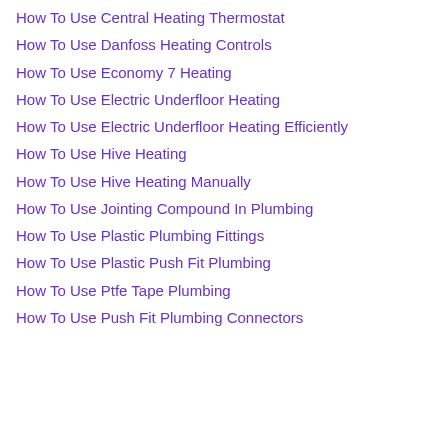How To Use Central Heating Thermostat
How To Use Danfoss Heating Controls
How To Use Economy 7 Heating
How To Use Electric Underfloor Heating
How To Use Electric Underfloor Heating Efficiently
How To Use Hive Heating
How To Use Hive Heating Manually
How To Use Jointing Compound In Plumbing
How To Use Plastic Plumbing Fittings
How To Use Plastic Push Fit Plumbing
How To Use Ptfe Tape Plumbing
How To Use Push Fit Plumbing Connectors